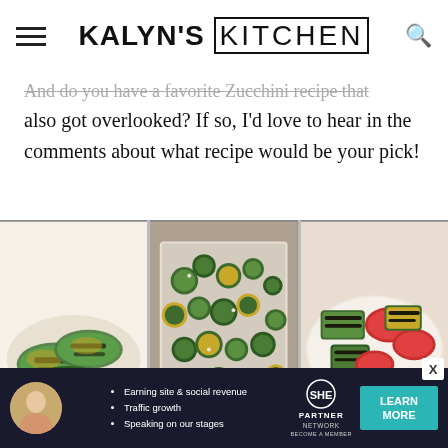KALYN'S KITCHEN
And do you have a favorite Zucchini recipe that also got overlooked? If so, I'd love to hear in the comments about what recipe would be your pick!
[Figure (photo): 3x2 grid of six food photos showing various zucchini dishes: grilled zucchini slices, roasted zucchini pieces, grilled zucchini with peppers, zucchini casserole, Mediterranean zucchini bake, and stuffed zucchini with feta]
[Figure (infographic): SHE Media Partner Network advertisement banner with avatar, bullet points about earning site and social revenue, traffic growth, speaking on our stages, SHE logo, and Learn More button]